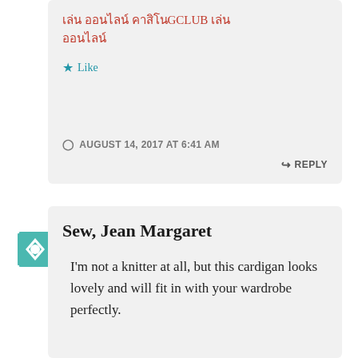เล่น ออนไลน์ คาสิโนGCLUB เล่น ออนไลน์
Like
AUGUST 14, 2017 AT 6:41 AM
REPLY
[Figure (logo): Teal geometric quilt-pattern avatar icon for Sew, Jean Margaret]
Sew, Jean Margaret
I'm not a knitter at all, but this cardigan looks lovely and will fit in with your wardrobe perfectly.